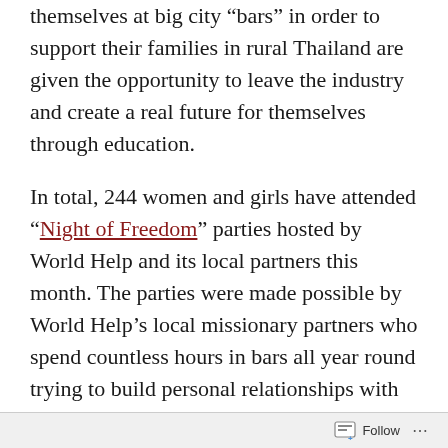themselves at big city “bars” in order to support their families in rural Thailand are given the opportunity to leave the industry and create a real future for themselves through education.
In total, 244 women and girls have attended “Night of Freedom” parties hosted by World Help and its local partners this month. The parties were made possible by World Help’s local missionary partners who spend countless hours in bars all year round trying to build personal relationships with girls to convince them to escape the “cultural slavery.”
Follow